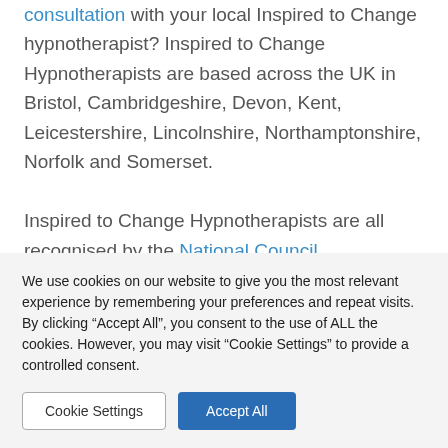consultation with your local Inspired to Change hypnotherapist? Inspired to Change Hypnotherapists are based across the UK in Bristol, Cambridgeshire, Devon, Kent, Leicestershire, Lincolnshire, Northamptonshire, Norfolk and Somerset.

Inspired to Change Hypnotherapists are all recognised by the National Council
We use cookies on our website to give you the most relevant experience by remembering your preferences and repeat visits. By clicking "Accept All", you consent to the use of ALL the cookies. However, you may visit "Cookie Settings" to provide a controlled consent.